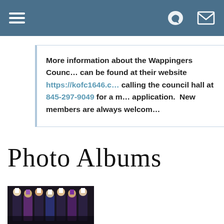Navigation bar with hamburger menu, bird icon, and mail icon
More information about the Wappingers Counc… can be found at their website https://kofc1646.c… calling the council hall at 845-297-9049 for a m… application.  New members are always welcom…
Photo Albums
[Figure (photo): Group photo of people in ceremonial Knights of Columbus regalia including capes and feathered hats]